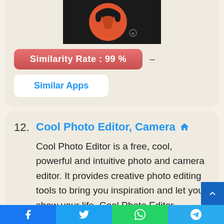[Figure (logo): App logo with orange fox/bird icon on black background with registered trademark symbol]
Similarity Rate : 99 %
Similar Apps
12. Cool Photo Editor, Camera
Cool Photo Editor is a free, cool, powerful and intuitive photo and camera editor. It provides creative photo editing tools to bring you inspiration and let you show your life. Cool Photo Editor provides dozens of custom photo